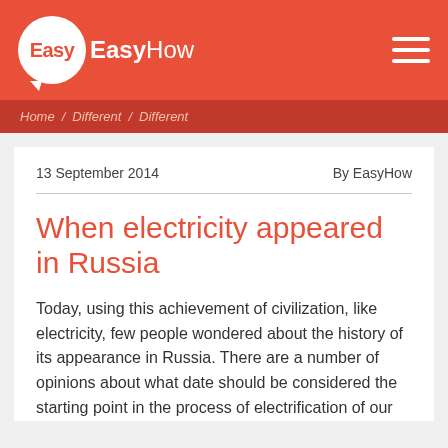EasyHow
Home / Different / Different
13 September 2014    By EasyHow
When electricity appeared in Russia
Today, using this achievement of civilization, like electricity, few people wondered about the history of its appearance in Russia. There are a number of opinions about what date should be considered the starting point in the process of electrification of our